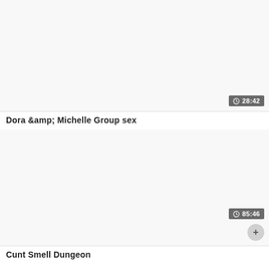[Figure (screenshot): Video thumbnail placeholder for first card, light gray background]
28:42
Dora &amp; Michelle Group sex
[Figure (screenshot): Video thumbnail placeholder for second card, light gray background]
85:46
Cunt Smell Dungeon